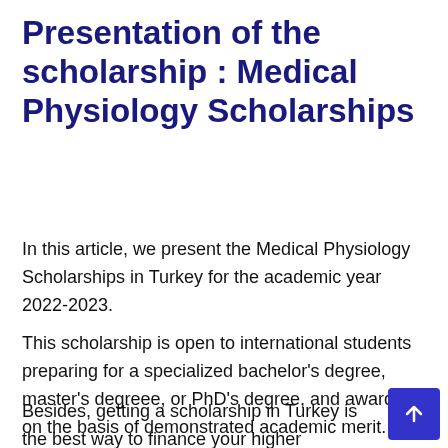Presentation of the scholarship : Medical Physiology Scholarships
In this article, we present the Medical Physiology Scholarships in Turkey for the academic year 2022-2023.
This scholarship is open to international students preparing for a specialized bachelor’s degree, master’s degreee, or PhD’s degree, and awarded on the basis of demonstrated academic merit.
Besides, getting a scholarship in Turkey is the best way to finance your higher education in